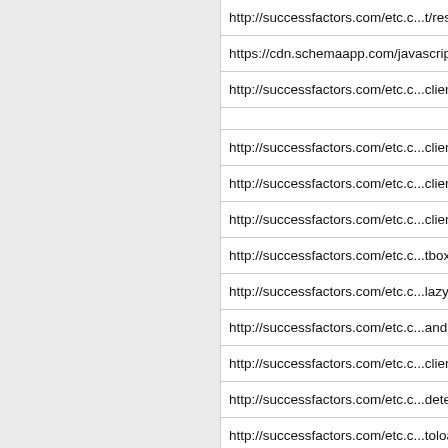| URL |
| --- |
| http://successfactors.com/etc.c...t/resources/sapcom/sapcom.d |
| https://cdn.schemaapp.com/javascript/highlight.js |
| http://successfactors.com/etc.c...clientlib.min.15cddb14f2b3b5a |
|  |
| http://successfactors.com/etc.c...clientlib.min.9aa1a54496e6ee |
| http://successfactors.com/etc.c...clientlib.min.17d3fc89e0413f7 |
| http://successfactors.com/etc.c...clientlib.min.55c12653061c9b |
| http://successfactors.com/etc.c...tbox-util.min.be4f92313b44fd6 |
| http://successfactors.com/etc.c...lazy-init.min.9351333d28abcc |
| http://successfactors.com/etc.c...andlebars.min.16a2d71aa7c87 |
| http://successfactors.com/etc.c...clientlib.min.1e534d9dd46f78a |
| http://successfactors.com/etc.c...detection.min.925a92f8be4a56 |
| http://successfactors.com/etc.c...toloading.min.9b9a79ec2a546 |